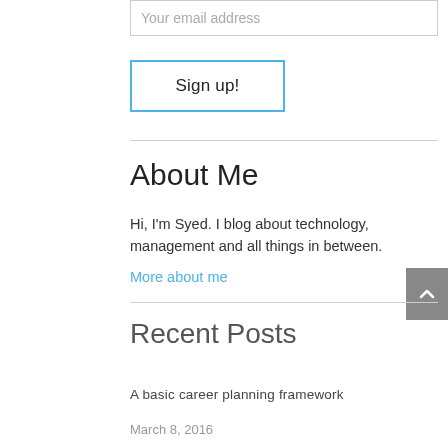Your email address
Sign up!
About Me
Hi, I'm Syed. I blog about technology, management and all things in between.
More about me
Recent Posts
A basic career planning framework
March 8, 2016